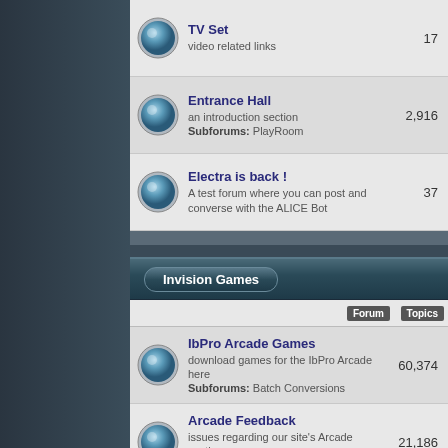| Forum | Topics |
| --- | --- |
| TV Set
video related links | 17 |
| Entrance Hall
an introduction section
Subforums: PlayRoom | 2,916 |
| Electra is back !
A test forum where you can post and converse with the ALICE Bot | 37 |
Invision Games
| Forum | Topics |
| --- | --- |
| IbPro Arcade Games
download games for the IbPro Arcade here
Subforums: Batch Conversions | 60,374 |
| Arcade Feedback
issues regarding our site's Arcade section
Subforums: Arcade Game Report | 21,186 |
| Arcade Announcements | 30,335 |